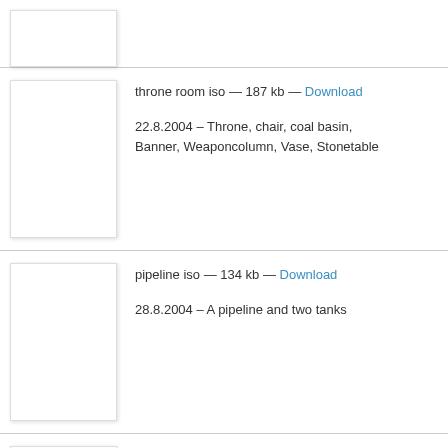[Figure (photo): Thumbnail image placeholder (partial, top of page)]
throne room iso — 187 kb — Download
22.8.2004 – Throne, chair, coal basin, Banner, Weaponcolumn, Vase, Stonetable
[Figure (photo): Thumbnail image placeholder for pipeline iso]
pipeline iso — 134 kb — Download
28.8.2004 – A pipeline and two tanks
[Figure (photo): Thumbnail image placeholder for reef iso]
reef iso — 173 kb — Download
2.9.2004 – Some reef stuff